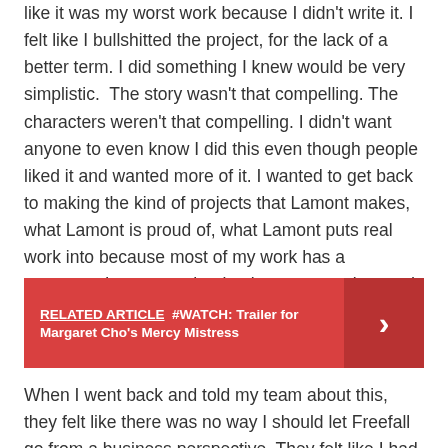like it was my worst work because I didn't write it. I felt like I bullshitted the project, for the lack of a better term. I did something I knew would be very simplistic.  The story wasn't that compelling. The characters weren't that compelling. I didn't want anyone to even know I did this even though people liked it and wanted more of it. I wanted to get back to making the kind of projects that Lamont makes, what Lamont is proud of, what Lamont puts real work into because most of my work has a message. I went to school to be a great writer, and I felt like Freefall was not that.
RELATED ARTICLE  #WATCH: Trailer for Margaret Cho's Mercy Mistress
When I went back and told my team about this, they felt like there was no way I should let Freefall go from a business perspective. They felt like I had tapped into this